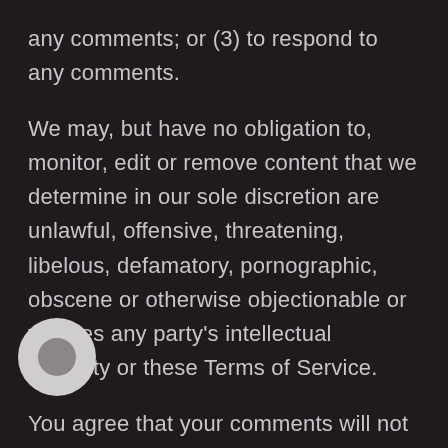any comments; or (3) to respond to any comments. We may, but have no obligation to, monitor, edit or remove content that we determine in our sole discretion are unlawful, offensive, threatening, libelous, defamatory, pornographic, obscene or otherwise objectionable or violates any party's intellectual property or these Terms of Service. You agree that your comments will not violate any right of any third-party, including copyright, trademark, privacy, personality or other personal or proprietary right. You further agree that your comments will not contain libelous or otherwise unlawful, abusive or
[Figure (other): Circular chat/button icon, light gray with darker gray inner circle]